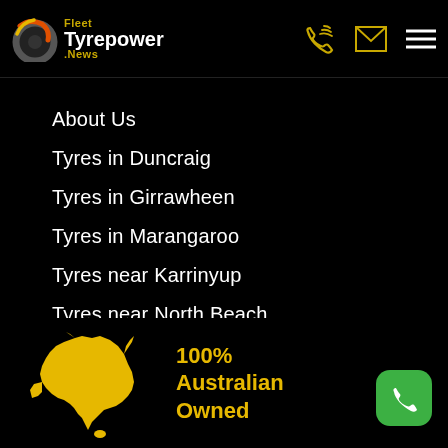Fleet Tyrepower News
About Us
Tyres in Duncraig
Tyres in Girrawheen
Tyres in Marangaroo
Tyres near Karrinyup
Tyres near North Beach
Canstar Blue Awards
Budget Tyres
Cheap Tyres
[Figure (illustration): Yellow silhouette map of Australia with text '100% Australian Owned' beside it in gold bold text. Green phone button in bottom right.]